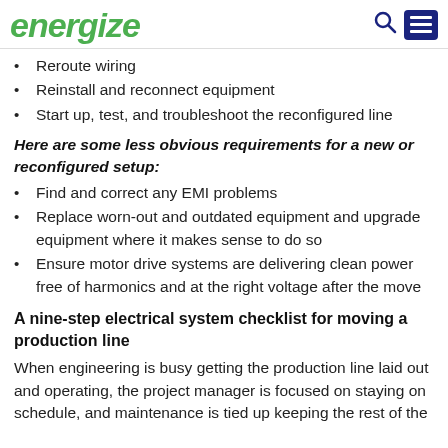energize
Reroute wiring
Reinstall and reconnect equipment
Start up, test, and troubleshoot the reconfigured line
Here are some less obvious requirements for a new or reconfigured setup:
Find and correct any EMI problems
Replace worn-out and outdated equipment and upgrade equipment where it makes sense to do so
Ensure motor drive systems are delivering clean power free of harmonics and at the right voltage after the move
A nine-step electrical system checklist for moving a production line
When engineering is busy getting the production line laid out and operating, the project manager is focused on staying on schedule, and maintenance is tied up keeping the rest of the